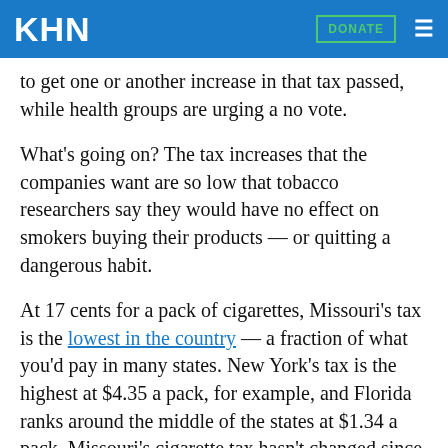KHN
to get one or another increase in that tax passed, while health groups are urging a no vote.
What's going on? The tax increases that the companies want are so low that tobacco researchers say they would have no effect on smokers buying their products — or quitting a dangerous habit.
At 17 cents for a pack of cigarettes, Missouri's tax is the lowest in the country — a fraction of what you'd pay in many states. New York's tax is the highest at $4.35 a pack, for example, and Florida ranks around the middle of the states at $1.34 a pack. Missouri's cigarette tax hasn't changed since 1993.